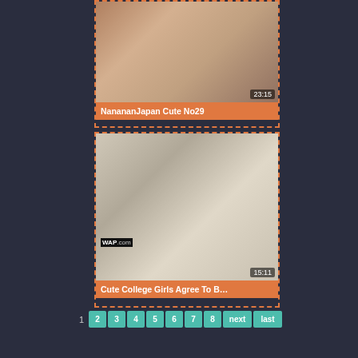[Figure (screenshot): Video thumbnail for NanananJapan Cute No29, showing duration 23:15]
NanananJapan Cute No29
[Figure (screenshot): Video thumbnail for Cute College Girls Agree To B…, showing duration 15:11, with WAP.com watermark]
Cute College Girls Agree To B…
1  2  3  4  5  6  7  8  next  last